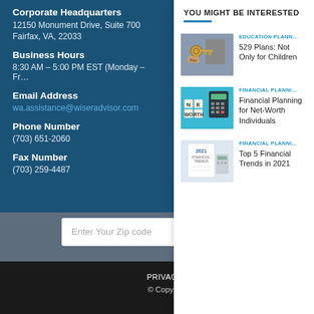Corporate Headquarters
12150 Monument Drive, Suite 700
Fairfax, VA, 22033
Business Hours
8:30 AM – 5:00 PM EST (Monday – Fr…
Email Address
wa.assistance@wiseradvisor.com
Phone Number
(703) 651-2060
Fax Number
(703) 259-4487
YOU MIGHT BE INTERESTED
EDUCATION PLANNING
529 Plans: Not Only for Children
[Figure (photo): A gold key with 'Plan' tag resting against a blue book]
FINANCIAL PLANNING
Financial Planning for Net-Worth Individuals
[Figure (photo): Scrabble tiles spelling NET WORTH with a calculator on blue background]
FINANCIAL PLANNING
Top 5 Financial Trends in 2021
[Figure (photo): A 2021 financial tips checklist with a calculator]
PRIVACY POLICY   TERMS
© Copyright 2022 WiserAdvisor